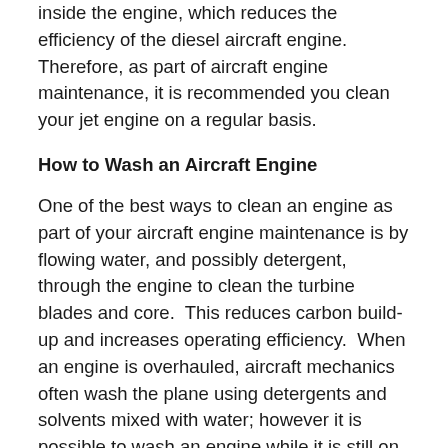inside the engine, which reduces the efficiency of the diesel aircraft engine.  Therefore, as part of aircraft engine maintenance, it is recommended you clean your jet engine on a regular basis.
How to Wash an Aircraft Engine
One of the best ways to clean an engine as part of your aircraft engine maintenance is by flowing water, and possibly detergent, through the engine to clean the turbine blades and core.  This reduces carbon build-up and increases operating efficiency.  When an engine is overhauled, aircraft mechanics often wash the plane using detergents and solvents mixed with water; however it is possible to wash an engine while it is still on the plane.
Visit us at www.covingtonaircraft.com for more information about airplane engine maintenance, overhaul, and repair for both radial and turbine engines.  You can also find out